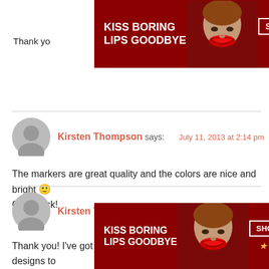[Figure (photo): Macy's advertisement banner: 'KISS BORING LIPS GOODBYE' with a woman's face with red lips, SHOP NOW button, and Macy's star logo]
Thank yo
Kirsten Thompson says: July 11, 2013 at 2:14 pm
The markers are great quality and the colors are nice and bright 🙂 Good luck!
Kirsten Thompson says: July 11, 2013 at 2:15 pm
Thank you! I've got so many ideas in my head now for designs to use on a bigger canvas 🙂
[Figure (photo): Macy's advertisement banner (repeated): 'KISS BORING LIPS GOODBYE' with a woman's face with red lips, SHOP NOW button, and Macy's star logo]